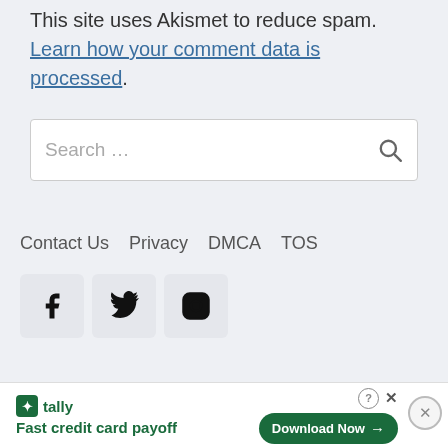This site uses Akismet to reduce spam. Learn how your comment data is processed.
Search …
Contact Us   Privacy   DMCA   TOS
[Figure (other): Social media icons: Facebook, Twitter, Instagram]
[Figure (other): Tally advertisement bar: Fast credit card payoff. Download Now button.]